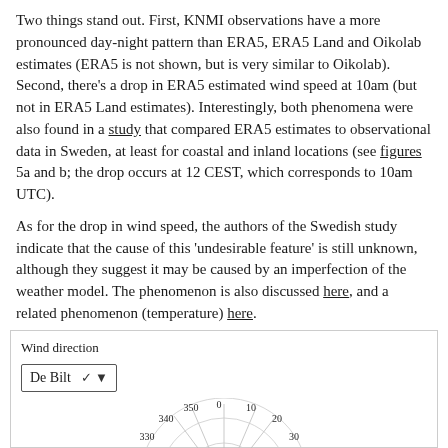Two things stand out. First, KNMI observations have a more pronounced day-night pattern than ERA5, ERA5 Land and Oikolab estimates (ERA5 is not shown, but is very similar to Oikolab). Second, there's a drop in ERA5 estimated wind speed at 10am (but not in ERA5 Land estimates). Interestingly, both phenomena were also found in a study that compared ERA5 estimates to observational data in Sweden, at least for coastal and inland locations (see figures 5a and b; the drop occurs at 12 CEST, which corresponds to 10am UTC).
As for the drop in wind speed, the authors of the Swedish study indicate that the cause of this 'undesirable feature' is still unknown, although they suggest it may be caused by an imperfection of the weather model. The phenomenon is also discussed here, and a related phenomenon (temperature) here.
Wind direction
The chart below compares wind directions provided by Oikolab to those observed by KNMI (D3.js code for the chart here).
[Figure (other): Wind direction chart interface showing a dropdown selector set to 'De Bilt' and the top portion of a radar/polar wind rose chart with degree labels 0, 10, 20, 30, 330, 340, 350 visible along the outer arc.]